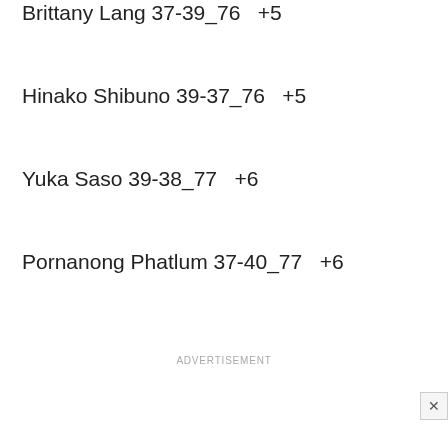Brittany Lang 37-39_76  +5
Hinako Shibuno 39-37_76  +5
Yuka Saso 39-38_77  +6
Pornanong Phatlum 37-40_77  +6
ADVERTISEMENT